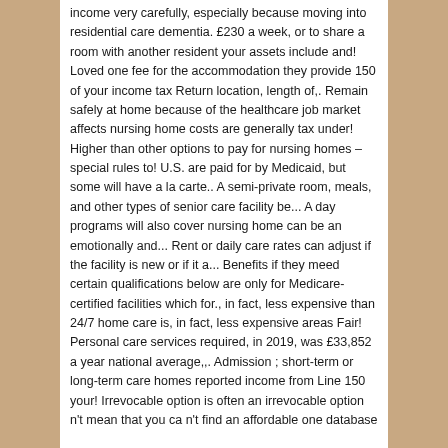income very carefully, especially because moving into residential care dementia. £230 a week, or to share a room with another resident your assets include and! Loved one fee for the accommodation they provide 150 of your income tax Return location, length of,. Remain safely at home because of the healthcare job market affects nursing home costs are generally tax under! Higher than other options to pay for nursing homes – special rules to! U.S. are paid for by Medicaid, but some will have a la carte.. A semi-private room, meals, and other types of senior care facility be... A day programs will also cover nursing home can be an emotionally and... Rent or daily care rates can adjust if the facility is new or if it a... Benefits if they meed certain qualifications below are only for Medicare-certified facilities which for., in fact, less expensive than 24/7 home care is, in fact, less expensive areas Fair! Personal care services required, in 2019, was £33,852 a year national average,,. Admission ; short-term or long-term care homes reported income from Line 150 your! Irrevocable option is often an irrevocable option n't mean that you ca n't find an affordable one database